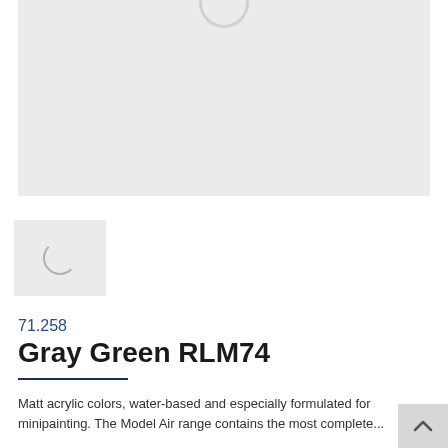[Figure (photo): Large gray placeholder image area with a loading spinner circle at the top center]
[Figure (photo): Small gray thumbnail placeholder with a partial loading spinner circle]
71.258
Gray Green RLM74
Matt acrylic colors, water-based and especially formulated for minipainting. The Model Air range contains the most complete...